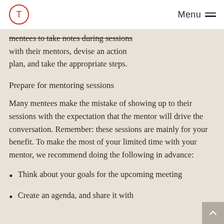Menu
mentees to take notes during sessions with their mentors, devise an action plan, and take the appropriate steps.
Prepare for mentoring sessions
Many mentees make the mistake of showing up to their sessions with the expectation that the mentor will drive the conversation. Remember: these sessions are mainly for your benefit. To make the most of your limited time with your mentor, we recommend doing the following in advance:
Think about your goals for the upcoming meeting
Create an agenda, and share it with